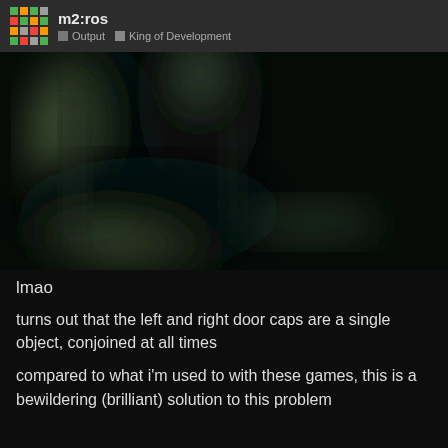m2:ros  Output  King of Development
[Figure (photo): Dark blurry screenshot of a game scene showing shadowy door-like structures with greenish-gray lighting against a black background]
lmao
turns out that the left and right door caps are a single object, conjoined at all times
compared to what i'm used to with these games, this is a bewildering (brilliant) solution to this problem